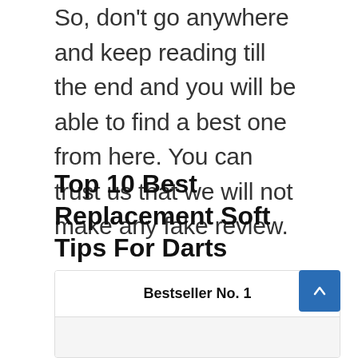So, don't go anywhere and keep reading till the end and you will be able to find a best one from here. You can trust us that we will not make any fake review.
Top 10 Best Replacement Soft Tips For Darts
Bestseller No. 1
[Figure (photo): Product image area (gray background, image not visible)]
TIAMOU Running Shoes Women Walking No Slip Athletic Tennis Blade Type Sneakers Black